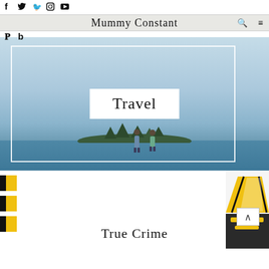Social icons: f (Facebook), Twitter bird, Instagram, YouTube
Mummy Constant — navigation bar with search and menu icons
Pinterest and Bloglovin sub-icons
[Figure (photo): Hero banner photo of a beach/lake scene with light blue sky, water, a small island with trees in the background, and two people standing in shallow water. White border rectangle overlay. Center white box with 'Travel' text in serif font.]
Travel
[Figure (illustration): Partial view of a yellow and black illustrated image on the right side, appears to be a tent or camping illustration.]
True Crime